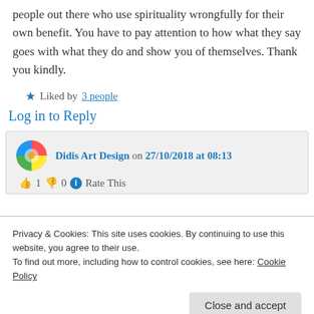people out there who use spirituality wrongfully for their own benefit. You have to pay attention to how what they say goes with what they do and show you of themselves. Thank you kindly.
★ Liked by 3 people
Log in to Reply
Didis Art Design on 27/10/2018 at 08:13
👍 1 👎 0 ℹ Rate This
Privacy & Cookies: This site uses cookies. By continuing to use this website, you agree to their use.
To find out more, including how to control cookies, see here: Cookie Policy
Close and accept
spirituality or not: A holy person once used